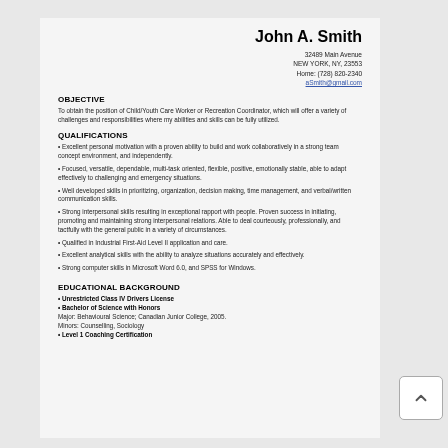John A. Smith
32489 Main Avenue
NEW YORK, NY, 23553
Home: (728) 820-2340
aSmith@gmail.com
OBJECTIVE
To obtain the position of Child/Youth Care Worker or Recreation Coordinator, which will offer a variety of challenges and responsibilities where my abilities and skills can be fully utilized.
QUALIFICATIONS
• Excellent personal motivation with a proven ability to build and work collaboratively in a strong team concept environment, and independently.
• Focused, versatile, dependable, multi-task oriented, flexible, positive, emotionally stable, able to adapt effectively to challenging and emergency situations.
• Well developed skills in prioritizing, organization, decision making, time management, and verbal/written communication skills.
• Strong interpersonal skills resulting in exceptional rapport with people. Proven success in initiating, promoting and maintaining strong interpersonal relations. Able to deal courteously, professionally, and tactfully with the general public in a variety of circumstances.
• Qualified in Industrial First-Aid Level II application and care.
• Excellent analytical skills with the ability to analyze situations accurately and effectively.
• Strong computer skills in Microsoft Word 6.0, and SPSS for Windows.
EDUCATIONAL BACKGROUND
• Unrestricted Class IV Drivers License
• Bachelor of Science with Honors
Major: Behavioural Science; Canadian Junior College, 2005.
Minors: Counselling, Sociology
• Level 1 Coaching Certification